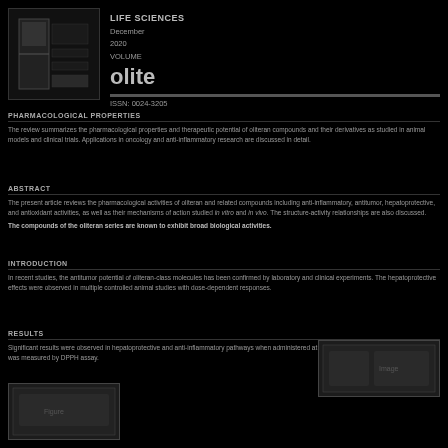[Figure (logo): Logo or emblem image in top-left corner, dark background]
LIFE SCIENCES
December
2020
VOLUME
olite
ISSN: 0024-3205
Pharmacological properties
The review summarizes the pharmacological properties and therapeutic potential of oliteran compounds and their derivatives as studied in animal models and clinical trials.
Abstract
The present article reviews the pharmacological activities of oliteran and related compounds including anti-inflammatory, antitumor, hepatoprotective, and antioxidant activities, as well as their mechanisms of action studied in vitro and in vivo.
Introduction
The compounds of the oliteran series are known to exhibit broad biological activities. In recent studies, their antitumor potential has been confirmed by laboratory and clinical experiments.
Results
Significant results were observed in hepatoprotective and anti-inflammatory pathways when administered at therapeutic doses.
[Figure (photo): Scientific image or micrograph in right-center area]
[Figure (photo): Secondary scientific image in bottom-left area]